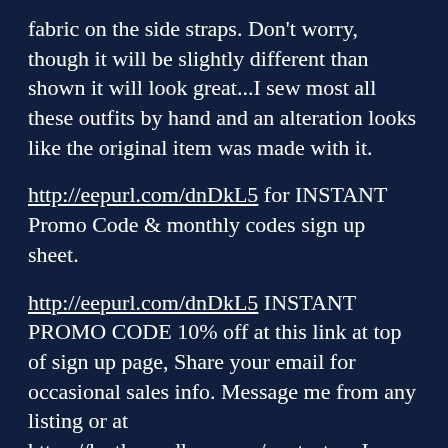fabric on the side straps. Don't worry, though it will be slightly different than shown it will look great...I sew most all these outfits by hand and an alteration looks like the original item was made with it.
http://eepurl.com/dnDkL5 for INSTANT Promo Code & monthly codes sign up sheet.
http://eepurl.com/dnDkL5 INSTANT PROMO CODE 10% off at this link at top of sign up page, Share your email for occasional sales info. Message me from any listing or at https://leatherandlacz.com/contact-us I check msg. every 24 hrs to email. The Seamstress.
See my website https://leatherandlacz.com/shop same Etsy checkouts.